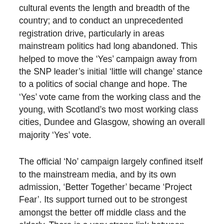cultural events the length and breadth of the country; and to conduct an unprecedented registration drive, particularly in areas mainstream politics had long abandoned. This helped to move the ‘Yes’ campaign away from the SNP leader’s initial ‘little will change’ stance to a politics of social change and hope. The ‘Yes’ vote came from the working class and the young, with Scotland’s two most working class cities, Dundee and Glasgow, showing an overall majority ‘Yes’ vote.
The official ‘No’ campaign largely confined itself to the mainstream media, and by its own admission, ‘Better Together’ became ‘Project Fear’. Its support turned out to be strongest amongst the better off middle class and the elderly. There is a very strong link between those leading the ‘Better Together’ campaign from 2012-14 and those leading the ‘Britain Stronger in Europe’ campaign in 2016. Their latest campaign represents a new ‘Project Fear’.